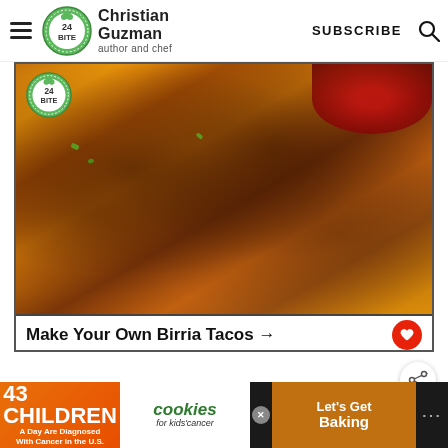Christian Guzman author and chef | SUBSCRIBE
[Figure (photo): Photo of birria tacos on a plate with dipping sauce, with 24 BITE logo overlay and caption 'Make Your Own Birria Tacos →' with a red heart button]
The taste of the ginger is so crucial to this Pork Egg Roll in a Bowl recipe. You realize that it's ginger that is giving you
[Figure (photo): WHAT'S NEXT popup showing Chicken Rolled Taco... with a food thumbnail]
[Figure (infographic): Advertisement: 43 CHILDREN A Day Are Diagnosed With Cancer in the U.S. | cookies for kids' cancer | Let's Get Baking (with X close button)]